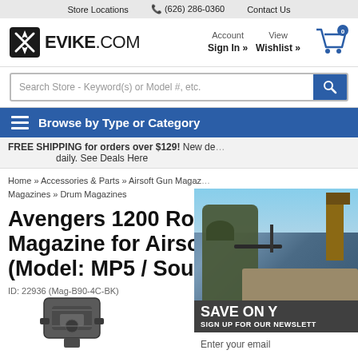Store Locations  (626) 286-0360  Contact Us
[Figure (logo): Evike.com logo with crossed airsoft guns icon]
Account Sign In »   View Wishlist »
[Figure (screenshot): Shopping cart icon with 0 badge]
Search Store - Keyword(s) or Model #, etc.
Browse by Type or Category
FREE SHIPPING for orders over $129! New deals daily. See Deals Here
Home » Accessories & Parts » Airsoft Gun Magazines » Drum Magazines
Avengers 1200 Round Electric Drum Magazine for Airsoft AEG MP5 (Model: MP5 / Sound / Black)
ID: 22936 (Mag-B90-4C-BK)
[Figure (photo): Soldier in military gear aiming rifle - newsletter signup overlay with 'SAVE ON YOUR ORDER, SIGN UP FOR OUR NEWSLETTER' and email input field]
[Figure (photo): Partial view of airsoft drum magazine product]